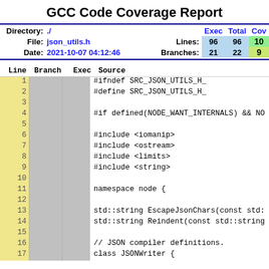GCC Code Coverage Report
| Directory: | ./ |  | Exec | Total | Cov |
| --- | --- | --- | --- | --- | --- |
| File: | json_utils.h | Lines: | 96 | 96 | 10... |
| Date: | 2021-10-07 04:12:46 | Branches: | 21 | 22 | 9... |
| Line | Branch | Exec | Source |
| --- | --- | --- | --- |
| 1 |  |  | #ifndef SRC_JSON_UTILS_H_ |
| 2 |  |  | #define SRC_JSON_UTILS_H_ |
| 3 |  |  |  |
| 4 |  |  | #if defined(NODE_WANT_INTERNALS) && NO |
| 5 |  |  |  |
| 6 |  |  | #include <iomanip> |
| 7 |  |  | #include <ostream> |
| 8 |  |  | #include <limits> |
| 9 |  |  | #include <string> |
| 10 |  |  |  |
| 11 |  |  | namespace node { |
| 12 |  |  |  |
| 13 |  |  | std::string EscapeJsonChars(const std: |
| 14 |  |  | std::string Reindent(const std::string |
| 15 |  |  |  |
| 16 |  |  | // JSON compiler definitions. |
| 17 |  |  | class JSONWriter { |